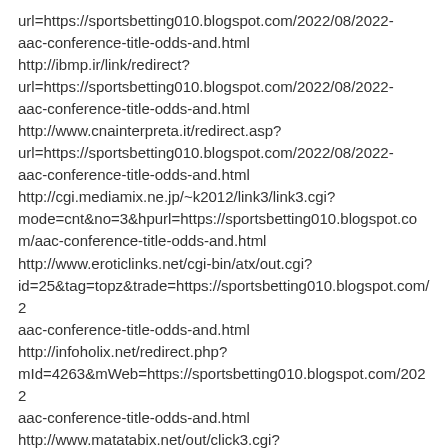url=https://sportsbetting010.blogspot.com/2022/08/2022-aac-conference-title-odds-and.html http://ibmp.ir/link/redirect? url=https://sportsbetting010.blogspot.com/2022/08/2022-aac-conference-title-odds-and.html http://www.cnainterpreta.it/redirect.asp? url=https://sportsbetting010.blogspot.com/2022/08/2022-aac-conference-title-odds-and.html http://cgi.mediamix.ne.jp/~k2012/link3/link3.cgi? mode=cnt&no=3&hpurl=https://sportsbetting010.blogspot.com/ aac-conference-title-odds-and.html http://www.eroticlinks.net/cgi-bin/atx/out.cgi? id=25&tag=topz&trade=https://sportsbetting010.blogspot.com/2 aac-conference-title-odds-and.html http://infoholix.net/redirect.php? mId=4263&mWeb=https://sportsbetting010.blogspot.com/2022 aac-conference-title-odds-and.html http://www.matatabix.net/out/click3.cgi? cnt=eroshocker&url=https://sportsbetti[Earn Rewards]com/20 aac-conference-title-odds-and.html